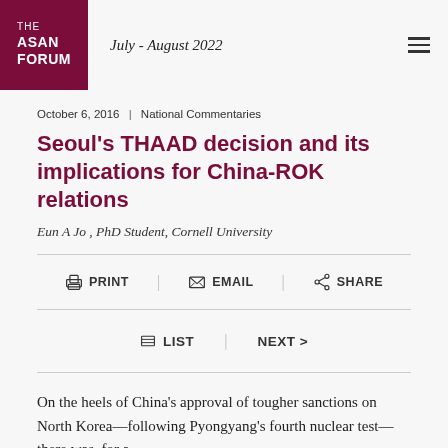THE ASAN FORUM | July - August 2022
October 6, 2016  |  National Commentaries
Seoul's THAAD decision and its implications for China-ROK relations
Eun A Jo , PhD Student, Cornell University
PRINT  |  EMAIL  |  SHARE
LIST  |  NEXT >
On the heels of China's approval of tougher sanctions on North Korea—following Pyongyang's fourth nuclear test—there was, for a